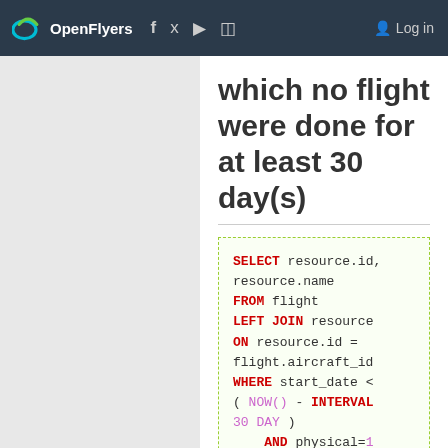OpenFlyers  f  🐦  ▶  ▦   Log in
which no flight were done for at least 30 day(s)
Flight between date